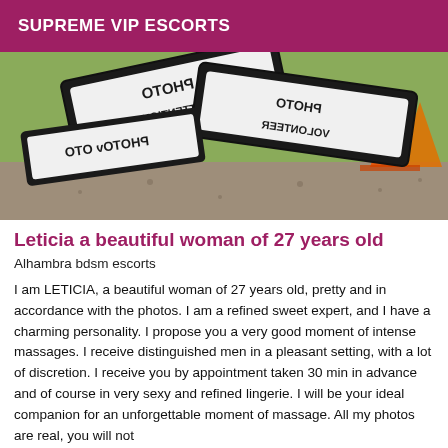SUPREME VIP ESCORTS
[Figure (photo): Photo placeholder image showing reversed warning signs with text 'PHOTO ATTENTION VOLONTEER' in a construction/outdoor setting with orange cones]
Leticia a beautiful woman of 27 years old
Alhambra bdsm escorts
I am LETICIA, a beautiful woman of 27 years old, pretty and in accordance with the photos. I am a refined sweet expert, and I have a charming personality. I propose you a very good moment of intense massages. I receive distinguished men in a pleasant setting, with a lot of discretion. I receive you by appointment taken 30 min in advance and of course in very sexy and refined lingerie. I will be your ideal companion for an unforgettable moment of massage. All my photos are real, you will not